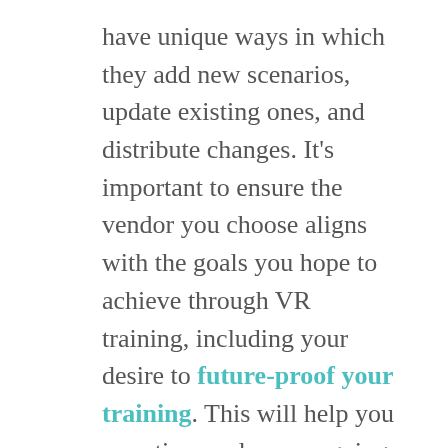have unique ways in which they add new scenarios, update existing ones, and distribute changes. It's important to ensure the vendor you choose aligns with the goals you hope to achieve through VR training, including your desire to future-proof your training. This will help you save time and money going forward.
We recommend asking potential vendors the following questions before you start a project:
Can we make changes to our VR